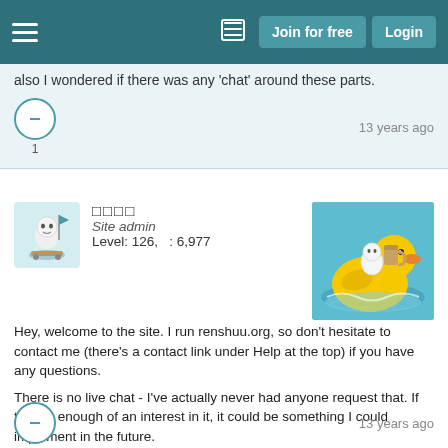Join for free  Login
also I wondered if there was any 'chat' around these parts.
13 years ago
□□□□
Site admin
Level: 126,   : 6,977
[Figure (illustration): Cartoon rubber duck on blue water with small characters riding on it]
Hey, welcome to the site. I run renshuu.org, so don't hesitate to contact me (there's a contact link under Help at the top) if you have any questions.

There is no live chat - I've actually never had anyone request that. If there's enough of an interest in it, it could be something I could implement in the future.
13 years ago